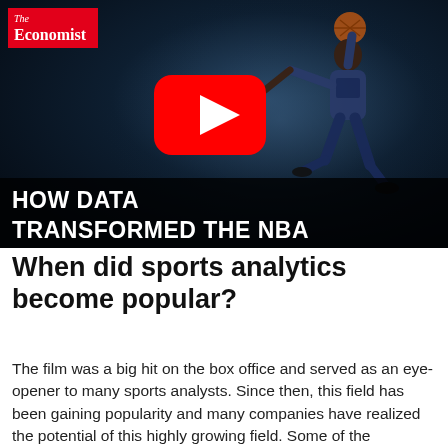[Figure (screenshot): YouTube video thumbnail from The Economist showing a basketball player jumping with a ball, overlaid with red YouTube play button and text 'HOW DATA TRANSFORMED THE NBA']
When did sports analytics become popular?
The film was a big hit on the box office and served as an eye-opener to many sports analysts. Since then, this field has been gaining popularity and many companies have realized the potential of this highly growing field. Some of the organizations started using data analytics in sports as